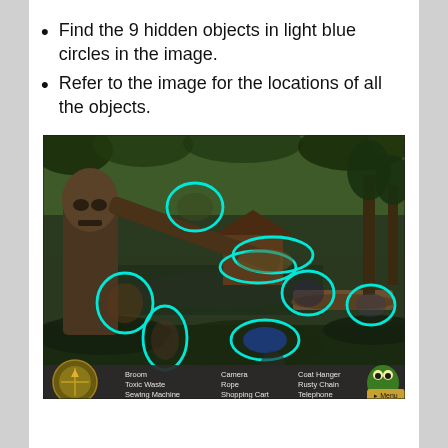Find the 9 hidden objects in light blue circles in the image.
Refer to the image for the locations of all the objects.
[Figure (screenshot): Hidden object game screenshot showing a jungle/river scene with teal circles marking hidden objects. Bottom bar lists: Broom, Toxic Waste, Sewing Machine, Camera, Rope, Shopping Cart, Coat Hanger, Rusty Chain, Telephone. A compass and a frog character are visible in the bottom corners.]